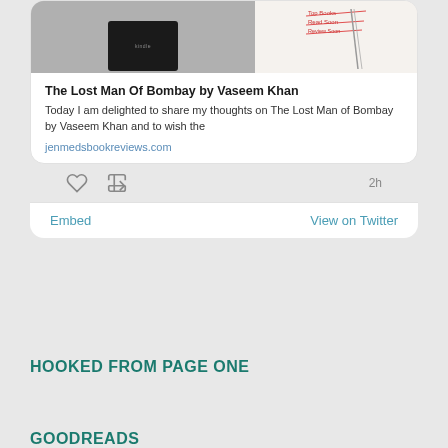[Figure (screenshot): Twitter/social media embed card showing a book review post for 'The Lost Man Of Bombay by Vaseem Khan' with an image of a Kindle device on the left and a notebook on the right, followed by bold title text, body text excerpt, and the URL jenmedsbookreviews.com. Below the card are like and retweet icons with a timestamp '2h'. At the bottom of the card are 'Embed' and 'View on Twitter' links.]
HOOKED FROM PAGE ONE
GOODREADS